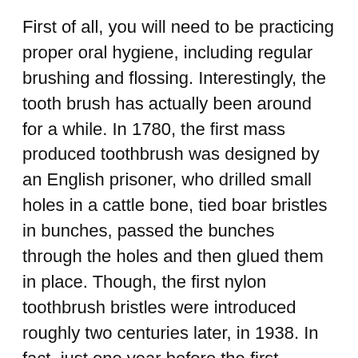First of all, you will need to be practicing proper oral hygiene, including regular brushing and flossing. Interestingly, the tooth brush has actually been around for a while. In 1780, the first mass produced toothbrush was designed by an English prisoner, who drilled small holes in a cattle bone, tied boar bristles in bunches, passed the bunches through the holes and then glued them in place. Though, the first nylon toothbrush bristles were introduced roughly two centuries later, in 1938. In fact, just one year before the first electric toothbrush!
Regular visits to a New jersey dentist or a dentist Staten Island are also essential to keep your teeth healthy and attractive. Regular visits to the dentist